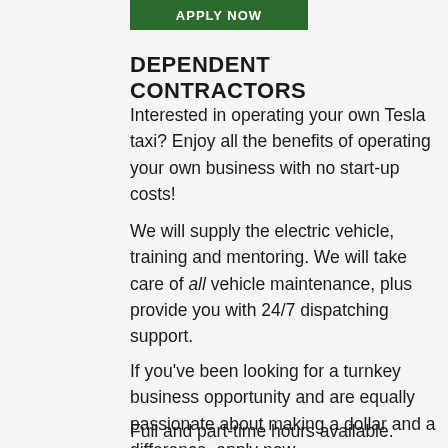[Figure (other): Green 'APPLY NOW' button]
DEPENDENT CONTRACTORS
Interested in operating your own Tesla taxi? Enjoy all the benefits of operating your own business with no start-up costs!
We will supply the electric vehicle, training and mentoring. We will take care of all vehicle maintenance, plus provide you with 24/7 dispatching support.
If you've been looking for a turnkey business opportunity and are equally passionate about making a dollar and a difference, apply now.
Full and part-time hours available.